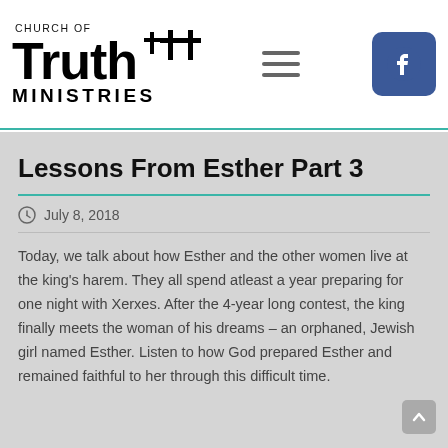[Figure (logo): Church of Truth Ministries logo with crosses]
Lessons From Esther Part 3
July 8, 2018
Today, we talk about how Esther and the other women live at the king's harem. They all spend atleast a year preparing for one night with Xerxes. After the 4-year long contest, the king finally meets the woman of his dreams – an orphaned, Jewish girl named Esther.  Listen to how God prepared Esther and remained faithful to her through this difficult time.